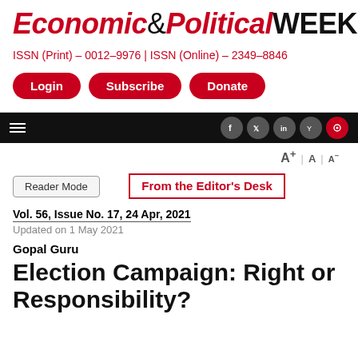Economic&Political WEEKLY
ISSN (Print) - 0012-9976 | ISSN (Online) - 2349-8846
Login | Subscribe | Donate
Reader Mode
A+ | A | A-
From the Editor's Desk
Vol. 56, Issue No. 17, 24 Apr, 2021
Updated on 1 May 2021
Gopal Guru
Election Campaign: Right or Responsibility?